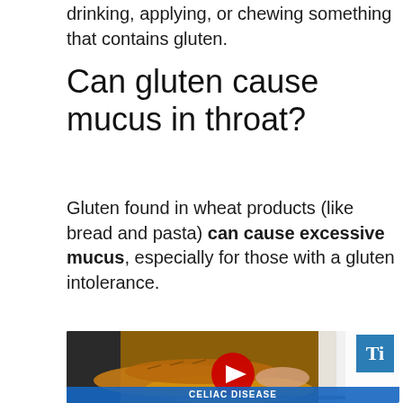drinking, applying, or chewing something that contains gluten.
Can gluten cause mucus in throat?
Gluten found in wheat products (like bread and pasta) can cause excessive mucus, especially for those with a gluten intolerance.
[Figure (screenshot): Video thumbnail showing a baker handling baguettes on a tray with a YouTube play button overlay and 'Ti' badge in top right corner, with 'CELIAC DISEASE' banner at the bottom.]